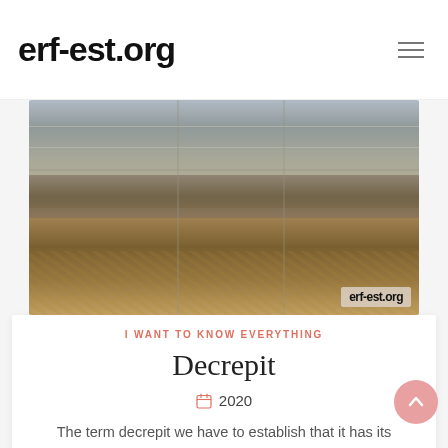erf-est.org
[Figure (photo): A decrepit, aged building interior or industrial space with debris and structural elements, watermarked with 'erf-est.org' in the bottom right corner.]
I WANT TO KNOW EVERYTHING
Decrepit
2020
The term decrepit we have to establish that it has its etymological origin in Latin. Exactly derived from